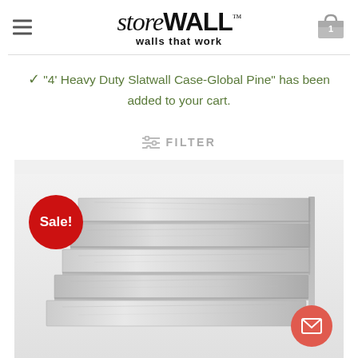storeWALL™ walls that work
"4' Heavy Duty Slatwall Case-Global Pine" has been added to your cart.
FILTER
[Figure (photo): Photo of a slatwall panel product (Global Pine finish) displayed on a light grey background, with a red 'Sale!' badge in the upper left corner and a red mail/contact button in the lower right corner.]